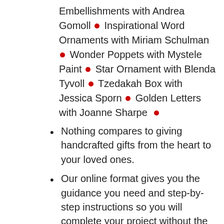Embellishments with Andrea Gomoll • Inspirational Word Ornaments with Miriam Schulman • Wonder Poppets with Mystele Paint • Star Ornament with Blenda Tyvoll • Tzedakah Box with Jessica Sporn • Golden Letters with Joanne Sharpe •
Nothing compares to giving handcrafted gifts from the heart to your loved ones.
Our online format gives you the guidance you need and step-by-step instructions so you will complete your project without the frustration of going it alone.